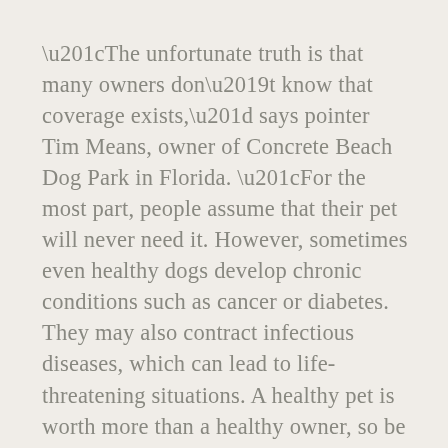“The unfortunate truth is that many owners don’t know that coverage exists,” says pointer Tim Means, owner of Concrete Beach Dog Park in Florida. “For the most part, people assume that their pet will never need it. However, sometimes even healthy dogs develop chronic conditions such as cancer or diabetes. They may also contract infectious diseases, which can lead to life-threatening situations. A healthy pet is worth more than a healthy owner, so be sure to protect them with the right kind of coverage.”
One of the best ways that dog owners can ensure that they provide proper coverage for their pets is by purchasing pet insurance. This